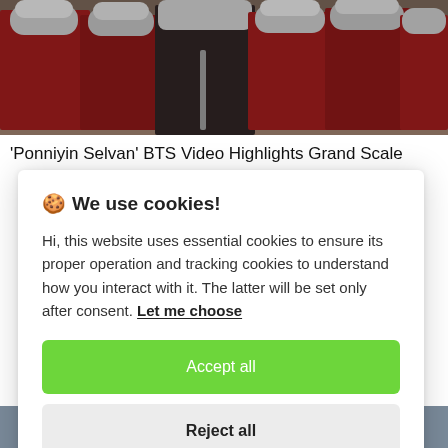[Figure (photo): Photo of soldiers/warriors in red robes and metal helmets from what appears to be a historical drama film set (Ponniyin Selvan BTS)]
'Ponniyin Selvan' BTS Video Highlights Grand Scale
🍪 We use cookies!

Hi, this website uses essential cookies to ensure its proper operation and tracking cookies to understand how you interact with it. The latter will be set only after consent. Let me choose

[Accept all] [Reject all]